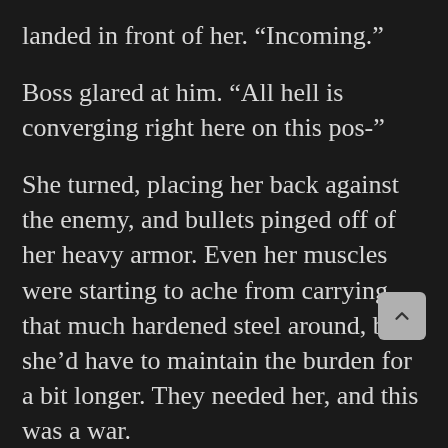landed in front of her. “Incoming.”
Boss glared at him. “All hell is converging right here on this pos-”
She turned, placing her back against the enemy, and bullets pinged off of her heavy armor. Even her muscles were starting to ache from carrying that much hardened steel around, but she’d have to maintain the burden for a bit longer. They needed her, and this was a war.
Her broken body would serve as a token for their purchase. This was a worthy